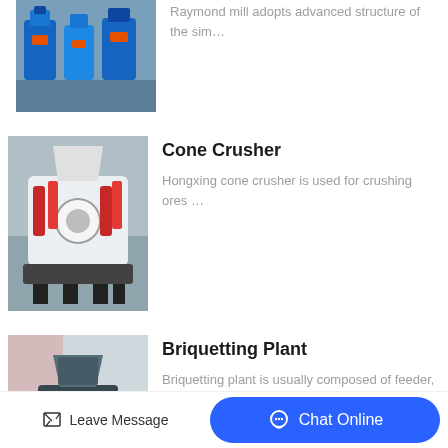[Figure (photo): Partial view of blue industrial Raymond mill machines in a factory setting]
Raymond mill adopts advanced structure of the sim…
[Figure (photo): White and red cone crusher machine in a factory]
Cone Crusher
Hongxing cone crusher is used for crushing ores …
[Figure (photo): Dark grey briquetting plant machine in a factory]
Briquetting Plant
Briquetting plant is usually composed of feeder, …
Related Blog
Leave Message
Chat Online